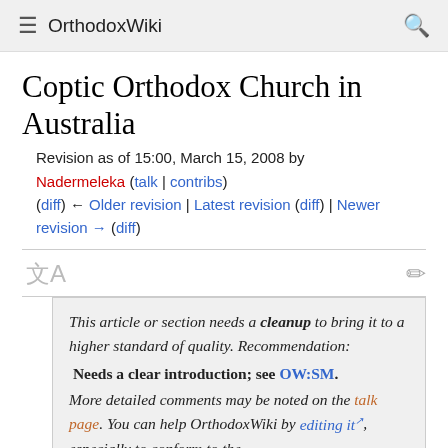≡  OrthodoxWiki  🔍
Coptic Orthodox Church in Australia
Revision as of 15:00, March 15, 2008 by Nadermeleka (talk | contribs)
(diff) ← Older revision | Latest revision (diff) | Newer revision → (diff)
This article or section needs a cleanup to bring it to a higher standard of quality. Recommendation:
Needs a clear introduction; see OW:SM.
More detailed comments may be noted on the talk page. You can help OrthodoxWiki by editing it, especially to conform to the